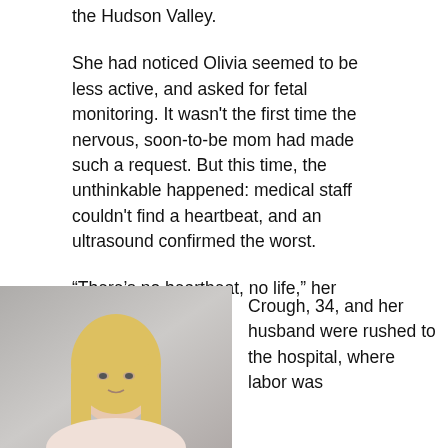the Hudson Valley.
She had noticed Olivia seemed to be less active, and asked for fetal monitoring. It wasn't the first time the nervous, soon-to-be mom had made such a request. But this time, the unthinkable happened: medical staff couldn't find a heartbeat, and an ultrasound confirmed the worst.
“There’s no heartbeat, no life,” her doctor told her.
[Figure (photo): Portrait photo of a blonde woman looking at the camera with a serious expression, wearing a light pink top, against a grey background.]
Crough, 34, and her husband were rushed to the hospital, where labor was